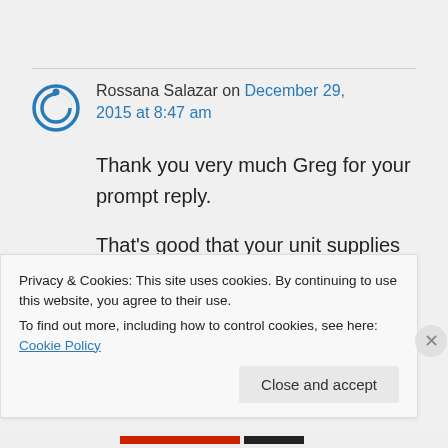Rossana Salazar on December 29, 2015 at 8:47 am
Thank you very much Greg for your prompt reply.

That's good that your unit supplies with food. I thought food was not good during treatments but now I
Privacy & Cookies: This site uses cookies. By continuing to use this website, you agree to their use.
To find out more, including how to control cookies, see here: Cookie Policy